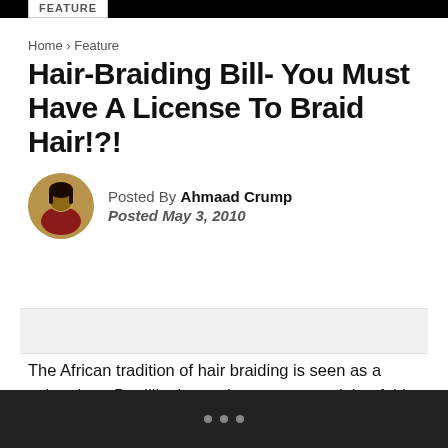FEATURE
Home › Feature
Hair-Braiding Bill- You Must Have A License To Braid Hair!?!
Posted By Ahmaad Crump
Posted May 3, 2010
The African tradition of hair braiding is seen as a cultural art. But Illinois requires state oversight of this tradition. Those who braid are supposed to pay to take hours of cosmetology…